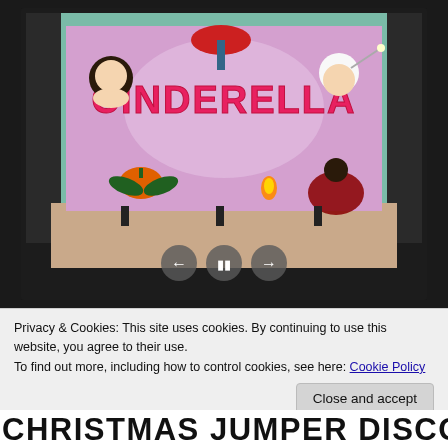[Figure (photo): A Cinderella pantomime backdrop/banner displayed in a darkened room. The banner is pink/purple with illustrated characters from the Cinderella story and large text reading 'CINDERELLA'. Video player navigation controls (back, pause, forward) are visible at the bottom of the image.]
Privacy & Cookies: This site uses cookies. By continuing to use this website, you agree to their use.
To find out more, including how to control cookies, see here: Cookie Policy
Close and accept
CHRISTMAS JUMPER DISCO